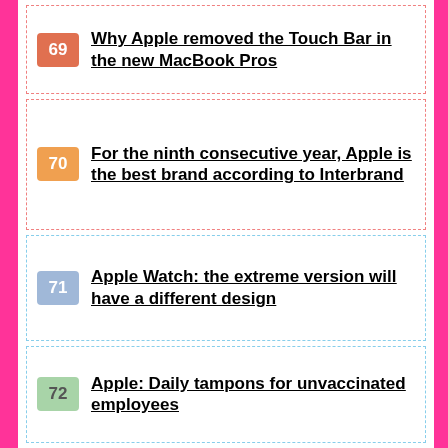69 Why Apple removed the Touch Bar in the new MacBook Pros
70 For the ninth consecutive year, Apple is the best brand according to Interbrand
71 Apple Watch: the extreme version will have a different design
72 Apple: Daily tampons for unvaccinated employees